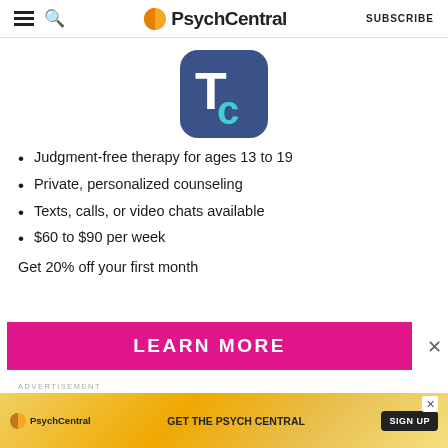PsychCentral | SUBSCRIBE
[Figure (logo): TeenCounseling app icon: blue-gray rounded square with white T and teal C letters]
Judgment-free therapy for ages 13 to 19
Private, personalized counseling
Texts, calls, or video chats available
$60 to $90 per week
Get 20% off your first month
[Figure (infographic): Magenta LEARN MORE button with X close button]
ADVERTISEMENT
[Figure (screenshot): PsychCentral ad banner: GET THE PSYCH CENTRAL with SIGN UP button on gold swirl background]